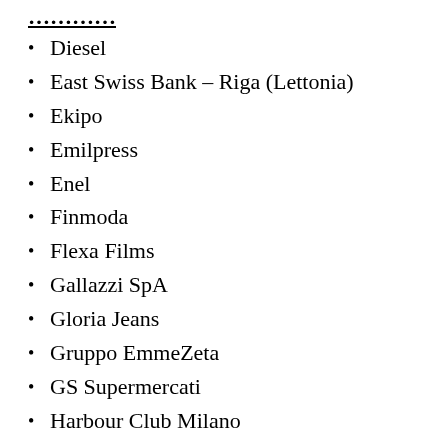Diesel
East Swiss Bank – Riga (Lettonia)
Ekipo
Emilpress
Enel
Finmoda
Flexa Films
Gallazzi SpA
Gloria Jeans
Gruppo EmmeZeta
GS Supermercati
Harbour Club Milano
Henkel
Hotel Ishim – Stary Oskol (Russia)
Hotel President – Yakutsk (Repubblica Sakha – Siberia)